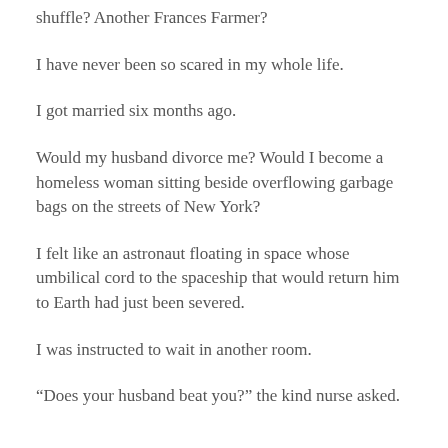shuffle? Another Frances Farmer?
I have never been so scared in my whole life.
I got married six months ago.
Would my husband divorce me? Would I become a homeless woman sitting beside overflowing garbage bags on the streets of New York?
I felt like an astronaut floating in space whose umbilical cord to the spaceship that would return him to Earth had just been severed.
I was instructed to wait in another room.
“Does your husband beat you?” the kind nurse asked.